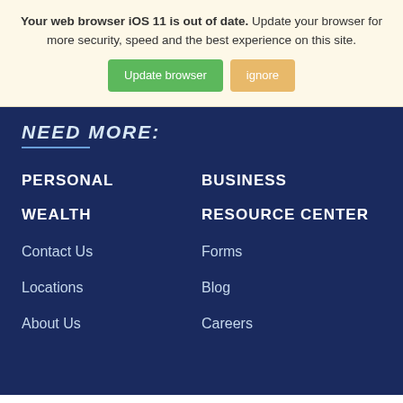Your web browser iOS 11 is out of date. Update your browser for more security, speed and the best experience on this site.
Update browser | ignore
NEED MORE:
PERSONAL
BUSINESS
WEALTH
RESOURCE CENTER
Contact Us
Forms
Locations
Blog
About Us
Careers